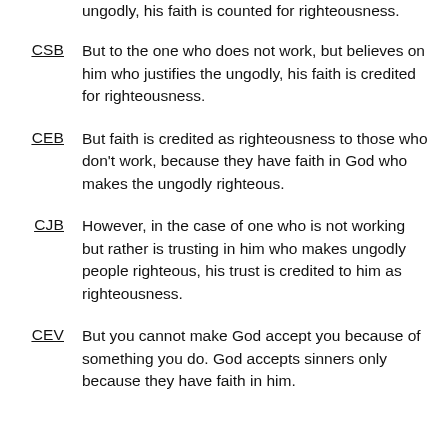ungodly, his faith is counted for righteousness.
CSB: But to the one who does not work, but believes on him who justifies the ungodly, his faith is credited for righteousness.
CEB: But faith is credited as righteousness to those who don't work, because they have faith in God who makes the ungodly righteous.
CJB: However, in the case of one who is not working but rather is trusting in him who makes ungodly people righteous, his trust is credited to him as righteousness.
CEV: But you cannot make God accept you because of something you do. God accepts sinners only because they have faith in him.